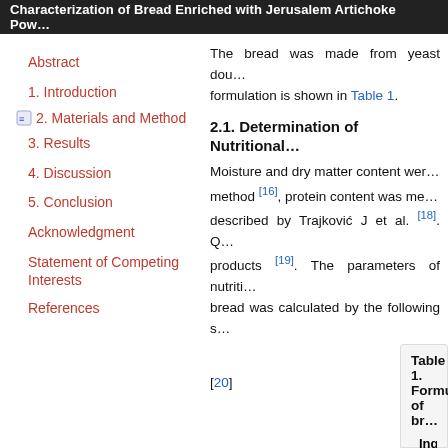Characterization of Bread Enriched with Jerusalem Artichoke Pow…
The bread was made from yeast dou… formulation is shown in Table 1.
2.1. Determination of Nutritional…
Moisture and dry matter content we… method [16], protein content was me… described by Trajković J et al. [18]. Q… products [19]. The parameters of nutriti… bread was calculated by the following s…
E…
[20]
Abstract
1. Introduction
2. Materials and Method
3. Results
4. Discussion
5. Conclusion
Acknowledgment
Statement of Competing Interests
References
Table 1. Formulation of br…
| Ingredients |  |
| --- | --- |
| J. artichoke… |  |